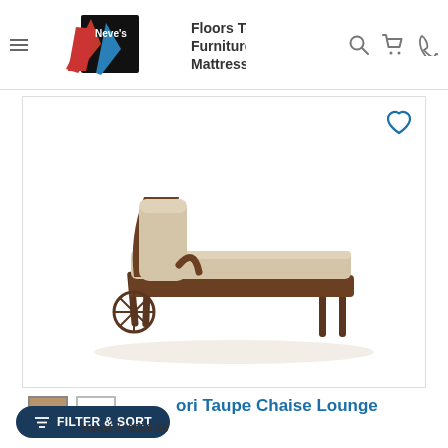Neve's Floors To Go Furniture & Mattress Gallery
[Figure (photo): Outdoor chaise lounge chair with bronze/dark metal frame and beige/taupe cushion, shown at an angle. The chair has decorative scroll armrests, spoke wheels at one end, and adjustable back. Cushions are a light tan/beige color.]
[Figure (other): Two color swatches: tan/taupe square and white square]
FILTER & SORT
ori Taupe Chaise Lounge
Model #: 0659-83